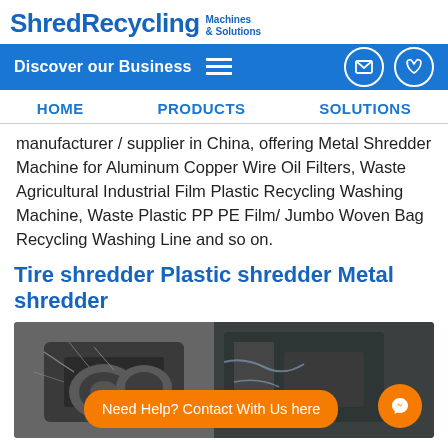ShredRecycling Machines & Solutions
Discover our Business
HOME   PRODUCTS   SOLUTIONS
manufacturer / supplier in China, offering Metal Shredder Machine for Aluminum Copper Wire Oil Filters, Waste Agricultural Industrial Film Plastic Recycling Washing Machine, Waste Plastic PP PE Film/ Jumbo Woven Bag Recycling Washing Line and so on.
Tire shredder Plastic shredder Metal shredder
[Figure (photo): Industrial metal shredder machine close-up with metal shavings and cutting mechanism visible. Orange chat bubble overlay: 'Need Help? Contact With Us here' with messenger icon.]